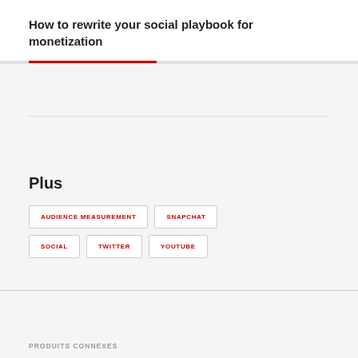How to rewrite your social playbook for monetization
Plus
AUDIENCE MEASUREMENT
SNAPCHAT
SOCIAL
TWITTER
YOUTUBE
PRODUITS CONNEXES